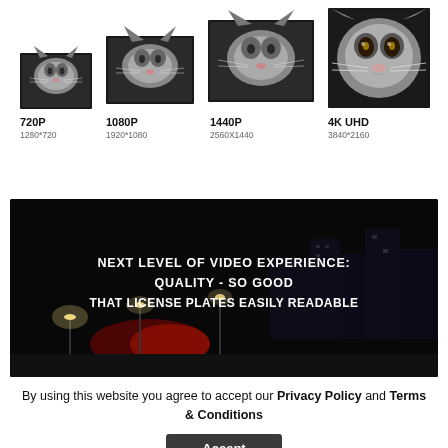[Figure (infographic): Four progressive cat face images showing increasing resolution sizes: 720P (1280*720), 1080P (1920*1080), 1440P (2560X1440), 4K UHD (3840*2160)]
[Figure (photo): Dark night cityscape with street lights and traffic. Overlaid bold white text reading: NEXT LEVEL OF VIDEO EXPERIENCE: QUALITY - SO GOOD THAT LICENSE PLATES EASILY READABLE]
By using this website you agree to accept our Privacy Policy and Terms & Conditions
Accept